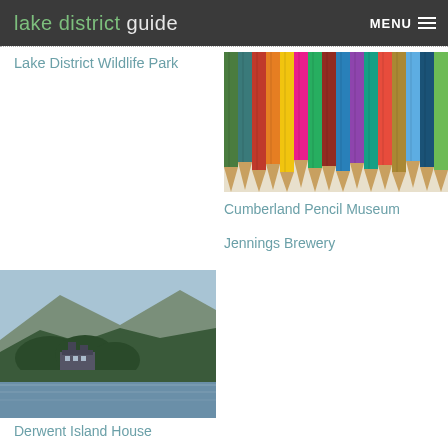lake district guide  MENU
Lake District Wildlife Park
[Figure (photo): Colorful pencils arranged side by side, shot from above showing their tips pointing downward]
Cumberland Pencil Museum
Jennings Brewery
[Figure (photo): Derwent Island House viewed from the lake, with green trees and mountains in background]
Derwent Island House